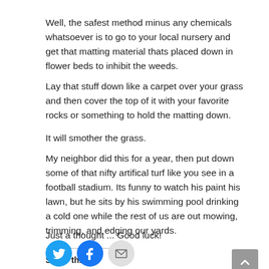Well, the safest method minus any chemicals whatsoever is to go to your local nursery and get that matting material thats placed down in flower beds to inhibit the weeds.
Lay that stuff down like a carpet over your grass and then cover the top of it with your favorite rocks or something to hold the matting down.
It will smother the grass.
My neighbor did this for a year, then put down some of that nifty artifical turf like you see in a football stadium. Its funny to watch his paint his lawn, but he sits by his swimming pool drinking a cold one while the rest of us are out mowing, trimming, and edging our yards.
Just a thought ... Good luck!
Share this:
[Figure (infographic): Social share icons: Twitter (blue bird), Facebook (blue f), Email (grey envelope)]